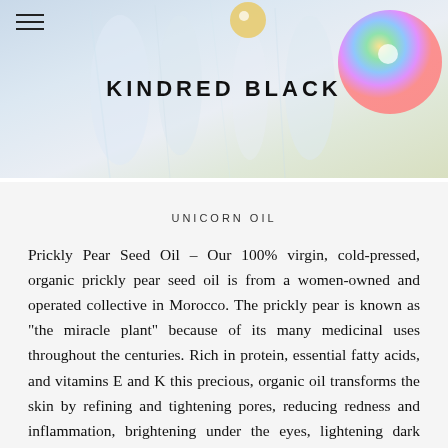[Figure (photo): Header banner photo showing colorful iridescent/holographic bottles and glass objects on a light background, with the Kindred Black brand logo centered at the top and a hamburger menu icon on the left.]
UNICORN OIL
Prickly Pear Seed Oil – Our 100% virgin, cold-pressed, organic prickly pear seed oil is from a women-owned and operated collective in Morocco. The prickly pear is known as "the miracle plant" because of its many medicinal uses throughout the centuries. Rich in protein, essential fatty acids, and vitamins E and K this precious, organic oil transforms the skin by refining and tightening pores, reducing redness and inflammation, brightening under the eyes, lightening dark spots, brightening skin tone and restoring skin's elasticity